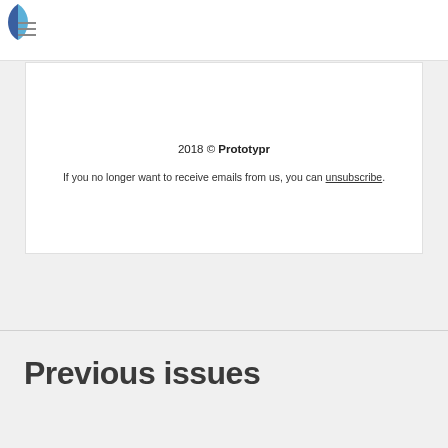Prototypr logo and navigation
2018 © Prototypr
If you no longer want to receive emails from us, you can unsubscribe.
Previous issues